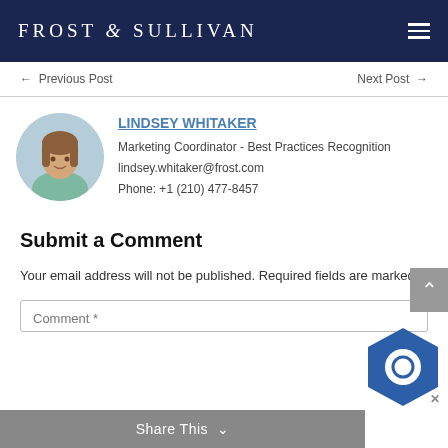FROST & SULLIVAN
← Previous Post    Next Post →
LINDSEY WHITAKER
Marketing Coordinator - Best Practices Recognition
lindsey.whitaker@frost.com
Phone: +1 (210) 477-8457
Submit a Comment
Your email address will not be published. Required fields are marked *
Comment *